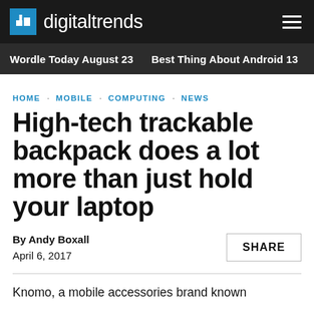digitaltrends
Wordle Today August 23 · Best Thing About Android 13 · War:
HOME · MOBILE · COMPUTING · NEWS
High-tech trackable backpack does a lot more than just hold your laptop
By Andy Boxall
April 6, 2017
SHARE
Knomo, a mobile accessories brand known